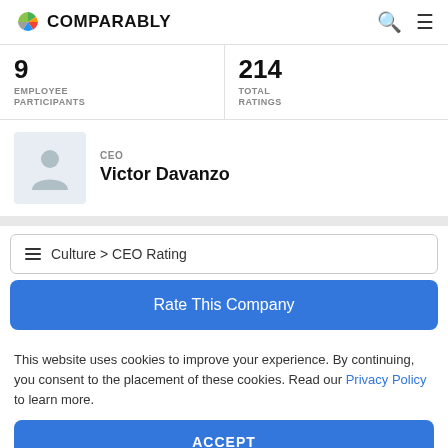COMPARABLY
9 EMPLOYEE PARTICIPANTS
214 TOTAL RATINGS
CEO Victor Davanzo
Culture > CEO Rating
Rate This Company
This website uses cookies to improve your experience. By continuing, you consent to the placement of these cookies. Read our Privacy Policy to learn more.
ACCEPT